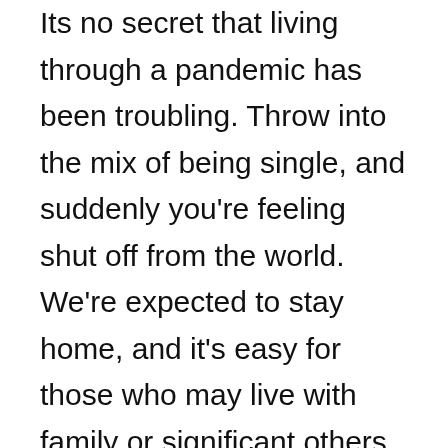Its no secret that living through a pandemic has been troubling. Throw into the mix of being single, and suddenly you're feeling shut off from the world. We're expected to stay home, and it's easy for those who may live with family or significant others, but for those who live alone, this can feel like a lonely time. Staying connected during a pandemic is easier than it may seem.
Online communications have a great way of making people feel connected to one another. Most of the time, this is through